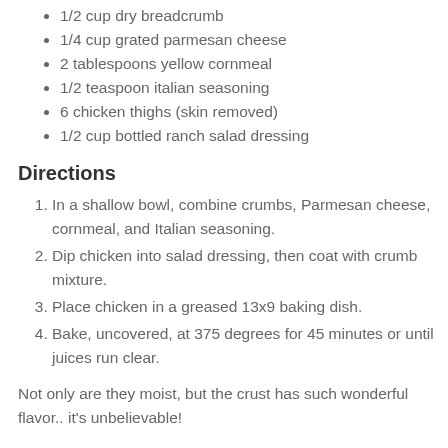1/2 cup dry breadcrumb
1/4 cup grated parmesan cheese
2 tablespoons yellow cornmeal
1/2 teaspoon italian seasoning
6 chicken thighs (skin removed)
1/2 cup bottled ranch salad dressing
Directions
In a shallow bowl, combine crumbs, Parmesan cheese, cornmeal, and Italian seasoning.
Dip chicken into salad dressing, then coat with crumb mixture.
Place chicken in a greased 13x9 baking dish.
Bake, uncovered, at 375 degrees for 45 minutes or until juices run clear.
Not only are they moist, but the crust has such wonderful flavor.. it's unbelievable!